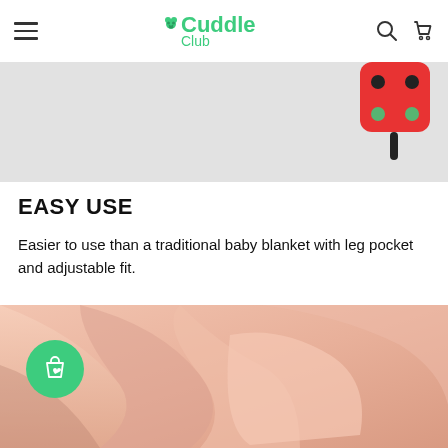Cuddle Club
[Figure (photo): Top portion of a product photo showing a red toy/accessory with black spots/details on a light gray background, partially cropped]
EASY USE
Easier to use than a traditional baby blanket with leg pocket and adjustable fit.
[Figure (photo): Close-up photo of pink/peach fabric with folds and pockets, showing a baby blanket or swaddle product with a green circular cart/wishlist button overlay in lower left]